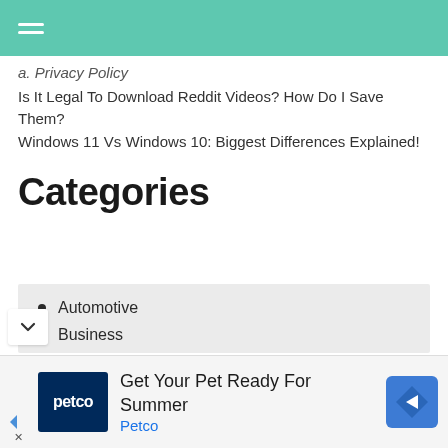Navigation menu header bar
a. Privacy Policy
Is It Legal To Download Reddit Videos? How Do I Save Them?
Windows 11 Vs Windows 10: Biggest Differences Explained!
Categories
Automotive
Business
Career
Celebrities
[Figure (infographic): Petco advertisement banner: Get Your Pet Ready For Summer, with Petco logo and navigation icon]
Get Your Pet Ready For Summer
Petco